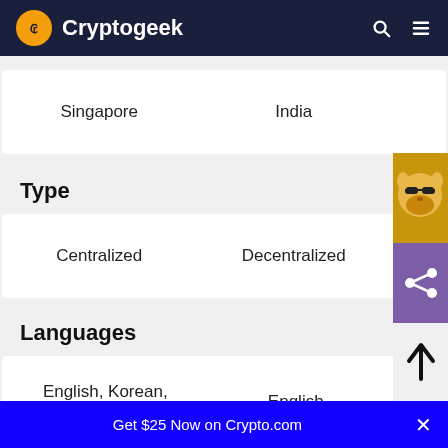Cryptogeek
| Exchange 1 | Exchange 2 |
| --- | --- |
| Singapore | India |
Type
| Exchange 1 | Exchange 2 |
| --- | --- |
| Centralized | Decentralized |
Languages
| Exchange 1 | Exchange 2 |
| --- | --- |
| English, Korean, Chinese | English |
Get $25 Now on Crypto.com